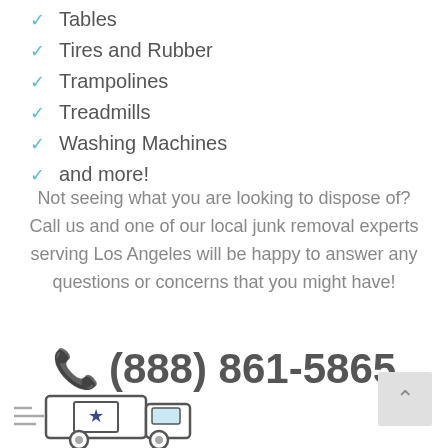Tables
Tires and Rubber
Trampolines
Treadmills
Washing Machines
and more!
Not seeing what you are looking to dispose of? Call us and one of our local junk removal experts serving Los Angeles will be happy to answer any questions or concerns that you might have!
(888) 861-5865
[Figure (illustration): Delivery truck with star logo and speed lines on the left side, scroll-to-top button on the right]